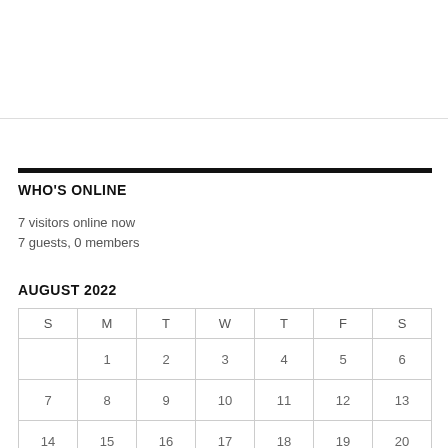WHO'S ONLINE
7 visitors online now
7 guests, 0 members
AUGUST 2022
| S | M | T | W | T | F | S |
| --- | --- | --- | --- | --- | --- | --- |
|  | 1 | 2 | 3 | 4 | 5 | 6 |
| 7 | 8 | 9 | 10 | 11 | 12 | 13 |
| 14 | 15 | 16 | 17 | 18 | 19 | 20 |
| 21 | 22 | 23 | 24 | 25 | 26 | 27 |